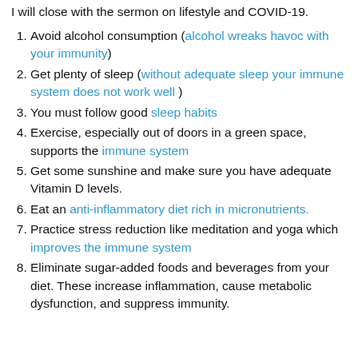I will close with the sermon on lifestyle and COVID-19.
Avoid alcohol consumption (alcohol wreaks havoc with your immunity)
Get plenty of sleep (without adequate sleep your immune system does not work well )
You must follow good sleep habits
Exercise, especially out of doors in a green space, supports the immune system
Get some sunshine and make sure you have adequate Vitamin D levels.
Eat an anti-inflammatory diet rich in micronutrients.
Practice stress reduction like meditation and yoga which improves the immune system
Eliminate sugar-added foods and beverages from your diet. These increase inflammation, cause metabolic dysfunction, and suppress immunity.